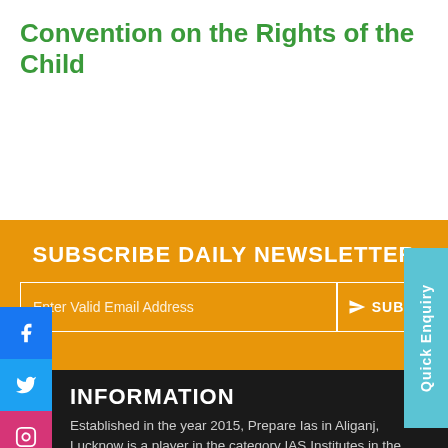Convention on the Rights of the Child
SUBSCRIBE DAILY NEWSLETTER
Enter Valid Email Address
SUBMIT
INFORMATION
Established in the year 2015, Prepare Ias in Aliganj, Lucknow is a player in the category IAS Institutes in the Lucknow. This well-known establishment acts as a one-stop destination catering to customers both local and from all other parts of Lucknow.